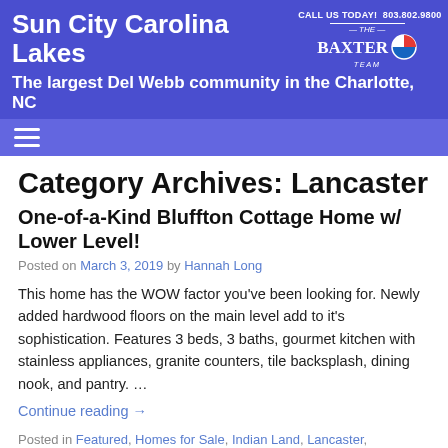Sun City Carolina Lakes
The largest Del Webb community in the Charlotte, NC
Category Archives: Lancaster
One-of-a-Kind Bluffton Cottage Home w/ Lower Level!
Posted on March 3, 2019 by Hannah Long
This home has the WOW factor you've been looking for. Newly added hardwood floors on the main level add to it's sophistication. Features 3 beds, 3 baths, gourmet kitchen with stainless appliances, granite counters, tile backsplash, dining nook, and pantry. …
Continue reading →
Posted in Featured, Homes for Sale, Indian Land, Lancaster, Real Estate, Real Estate Update, Sun City Carolina Lakes,